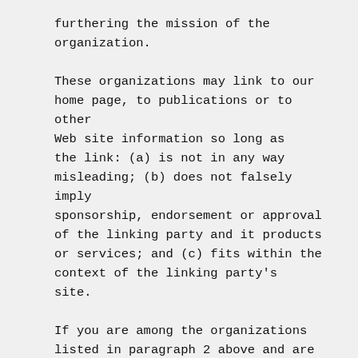furthering the mission of the organization.
These organizations may link to our home page, to publications or to other Web site information so long as the link: (a) is not in any way misleading; (b) does not falsely imply sponsorship, endorsement or approval of the linking party and it products or services; and (c) fits within the context of the linking party's site.
If you are among the organizations listed in paragraph 2 above and are